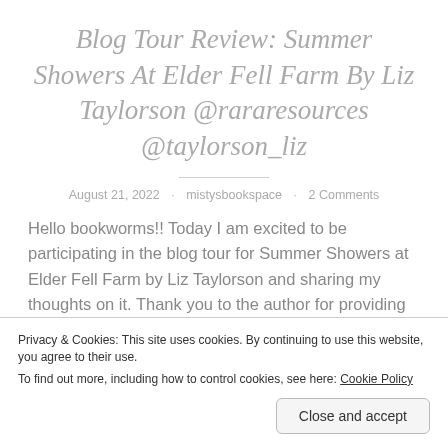Blog Tour Review: Summer Showers At Elder Fell Farm By Liz Taylorson @rararesources @taylorson_liz
August 21, 2022 · mistysbookspace · 2 Comments
Hello bookworms!! Today I am excited to be participating in the blog tour for Summer Showers at Elder Fell Farm by Liz Taylorson and sharing my thoughts on it. Thank you to the author for providing me a copy of this book in
Privacy & Cookies: This site uses cookies. By continuing to use this website, you agree to their use.
To find out more, including how to control cookies, see here: Cookie Policy